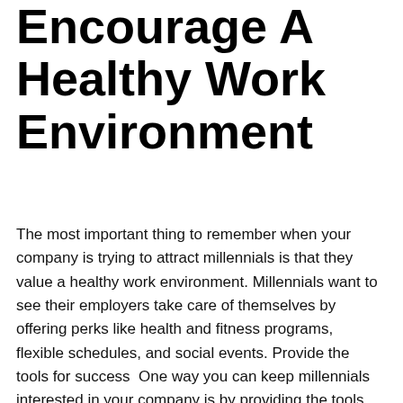Encourage A Healthy Work Environment
The most important thing to remember when your company is trying to attract millennials is that they value a healthy work environment. Millennials want to see their employers take care of themselves by offering perks like health and fitness programs, flexible schedules, and social events. Provide the tools for success  One way you can keep millennials interested in your company is by providing the tools for success. Investing in on-demand resources can help your business stay current with the latest technology and trends. It also offers opportunities for growth and development as well as collaboration amongst employees. This will help them feel a sense of belonging within your company.